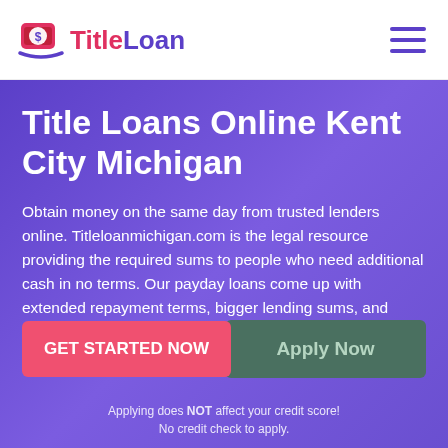TitleLoan
Title Loans Online Kent City Michigan
Obtain money on the same day from trusted lenders online. Titleloanmichigan.com is the legal resource providing the required sums to people who need additional cash in no terms. Our payday loans come up with extended repayment terms, bigger lending sums, and lower APR percentage rate.
GET STARTED NOW
Apply Now
Applying does NOT affect your credit score! No credit check to apply.